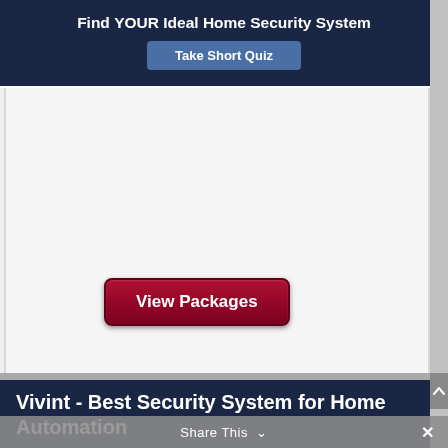Find YOUR Ideal Home Security System
Take Short Quiz
[Figure (screenshot): Gray/white content area with a 'View Packages' button in dark red/maroon, rounded rectangle style]
Vivint - Best Security System for Home Automation
Share This